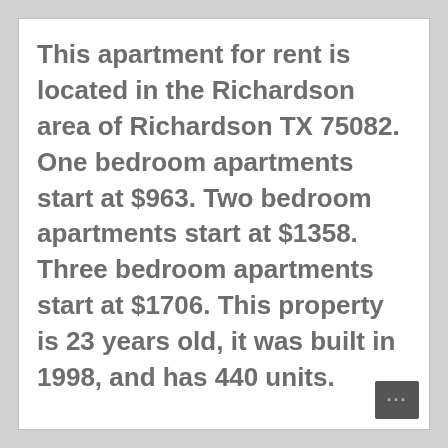This apartment for rent is located in the Richardson area of Richardson TX 75082. One bedroom apartments start at $963. Two bedroom apartments start at $1358. Three bedroom apartments start at $1706. This property is 23 years old, it was built in 1998, and has 440 units.